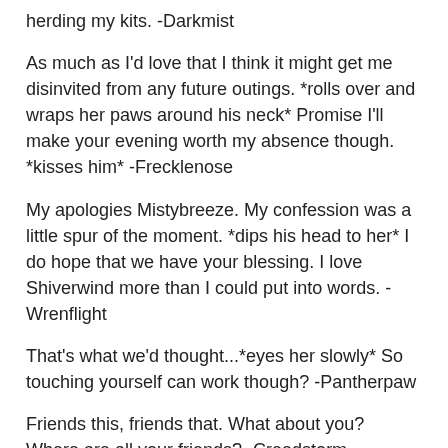herding my kits. -Darkmist
As much as I'd love that I think it might get me disinvited from any future outings. *rolls over and wraps her paws around his neck* Promise I'll make your evening worth my absence though. *kisses him* -Frecklenose
My apologies Mistybreeze. My confession was a little spur of the moment. *dips his head to her* I do hope that we have your blessing. I love Shiverwind more than I could put into words. -Wrenflight
That's what we'd thought...*eyes her slowly* So touching yourself can work though? -Pantherpaw
Friends this, friends that. What about you? Where are all your friends? -Creedstorm
I told you for years we'd be a perfect match and you didn't want to believe me. I had a feeling that leader complex of yours would carry over into the nest and taking